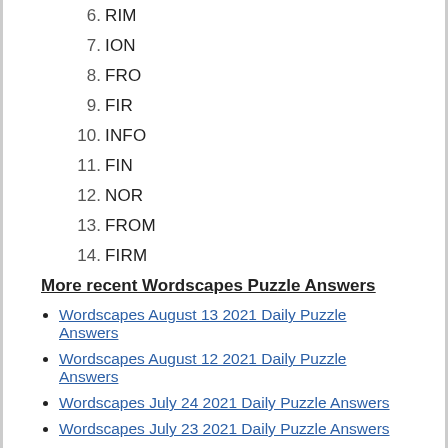6. RIM
7. ION
8. FRO
9. FIR
10. INFO
11. FIN
12. NOR
13. FROM
14. FIRM
More recent Wordscapes Puzzle Answers
Wordscapes August 13 2021 Daily Puzzle Answers
Wordscapes August 12 2021 Daily Puzzle Answers
Wordscapes July 24 2021 Daily Puzzle Answers
Wordscapes July 23 2021 Daily Puzzle Answers
Wordscapes July 22 2021 Daily Puzzle Answers